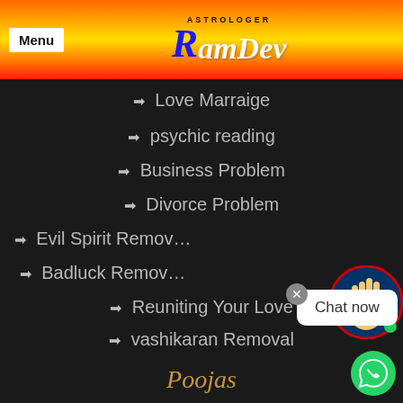Menu | ASTROLOGER RamDev
→ Love Marraige
→ psychic reading
→ Business Problem
→ Divorce Problem
→ Evil Spirit Removal
→ Badluck Removal
→ Reuniting Your Love
→ vashikaran Removal
Poojas
→ Lord Ganesh pooja
→ Negative Energy